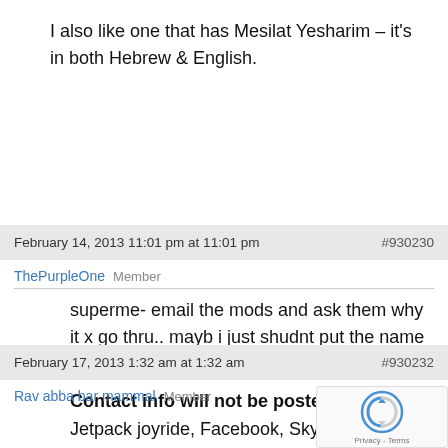I also like one that has Mesilat Yesharim – it's in both Hebrew & English.
February 14, 2013 11:01 pm at 11:01 pm  #930230
ThePurpleOne  Member
superme- email the mods and ask them why it x go thru.. mayb i just shudnt put the name and no numbr.. mods??
Contact info will not be posted.
February 17, 2013 1:32 am at 1:32 am  #930232
Rav abba bar mammal  Member
Jetpack joyride, Facebook, Skype, Carnivors Ice A... Gullcan Fusion, paper toss, angry birds, Gmail, Google